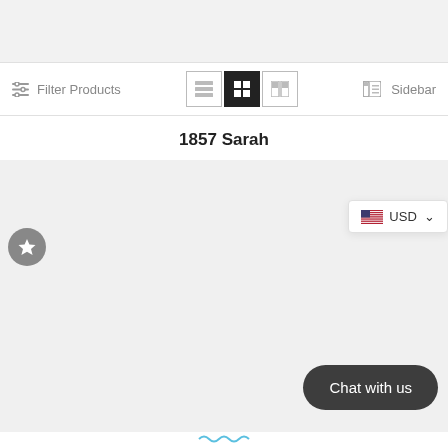[Figure (screenshot): Top gray navigation bar area of an e-commerce webpage]
Filter Products
[Figure (screenshot): View mode toggle icons: list, grid (active/black), and two-column view]
Sidebar
1857 Sarah
[Figure (screenshot): Product listing area with light gray background, star/favorite badge on left, USD currency dropdown on right, and Chat with us button at bottom right]
USD
Chat with us